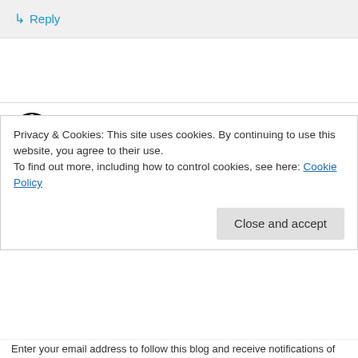↳ Reply
chattywren on March 19, 2012 at 10:59 am
Hi CM, belated birthday wishes to you and hope everything is fine at your end. I have tagged you at my blog and hopefully you can find some time
Privacy & Cookies: This site uses cookies. By continuing to use this website, you agree to their use.
To find out more, including how to control cookies, see here: Cookie Policy
Close and accept
Enter your email address to follow this blog and receive notifications of